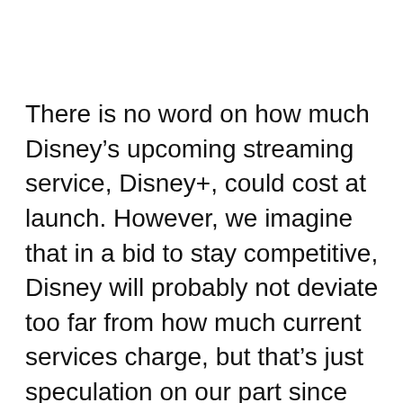There is no word on how much Disney’s upcoming streaming service, Disney+, could cost at launch. However, we imagine that in a bid to stay competitive, Disney will probably not deviate too far from how much current services charge, but that’s just speculation on our part since there are no official details yet.